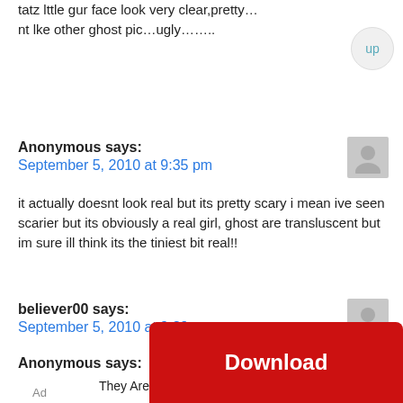tatz lttle gur face look very clear,pretty… nt lke other ghost pic…ugly……..
Anonymous says:
September 5, 2010 at 9:35 pm
it actually doesnt look real but its pretty scary i mean ive seen scarier but its obviously a real girl, ghost are transluscent but im sure ill think its the tiniest bit real!!
believer00 says:
September 5, 2010 at 9:39 pm
toiotally freaky but everyone knows its not real. Ghosts are transluscent and you cant see their faces but u can see hers so im not believing
Anonymous says:
They Are Coming!
Ad
[Figure (other): Red Download button banner ad]